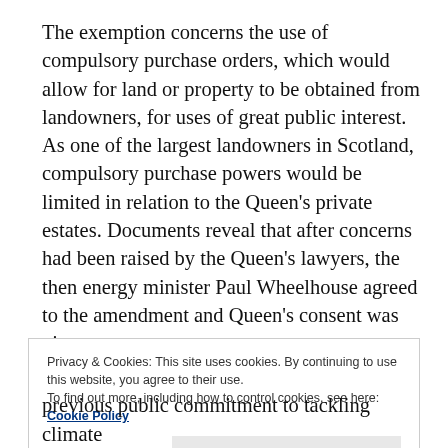The exemption concerns the use of compulsory purchase orders, which would allow for land or property to be obtained from landowners, for uses of great public interest. As one of the largest landowners in Scotland, compulsory purchase powers would be limited in relation to the Queen's private estates. Documents reveal that after concerns had been raised by the Queen's lawyers, the then energy minister Paul Wheelhouse agreed to the amendment and Queen's consent was given.
Privacy & Cookies: This site uses cookies. By continuing to use this website, you agree to their use.
To find out more, including how to control cookies, see here:
Cookie Policy
Close and accept
previous public commitment to tackling climate